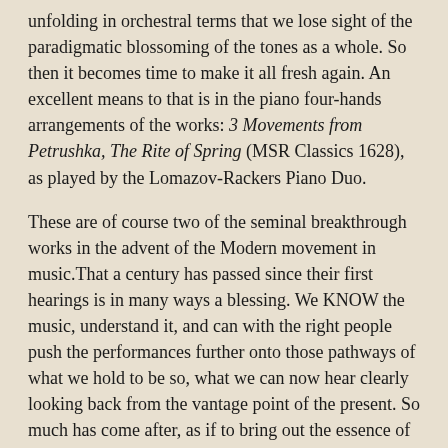unfolding in orchestral terms that we lose sight of the paradigmatic blossoming of the tones as a whole. So then it becomes time to make it all fresh again. An excellent means to that is in the piano four-hands arrangements of the works: 3 Movements from Petrushka, The Rite of Spring (MSR Classics 1628), as played by the Lomazov-Rackers Piano Duo.
These are of course two of the seminal breakthrough works in the advent of the Modern movement in music.That a century has passed since their first hearings is in many ways a blessing. We KNOW the music, understand it, and can with the right people push the performances further onto those pathways of what we hold to be so, what we can now hear clearly looking back from the vantage point of the present. So much has come after, as if to bring out the essence of this music and what it has done for us.
The Lomazov-Rackers Piano Duet make an ideal vehicle for these works. Clearly both have lived with this music intimately and can re-execute it all in ways that a long, lingering living-within makes possible a new possible.